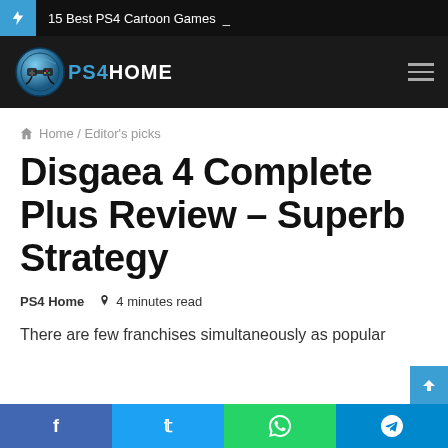15 Best PS4 Cartoon Games
[Figure (logo): PS4Home website logo with controller icon]
Home / Editor's picks
Disgaea 4 Complete Plus Review – Superb Strategy
PS4 Home  4 minutes read
There are few franchises simultaneously as popular